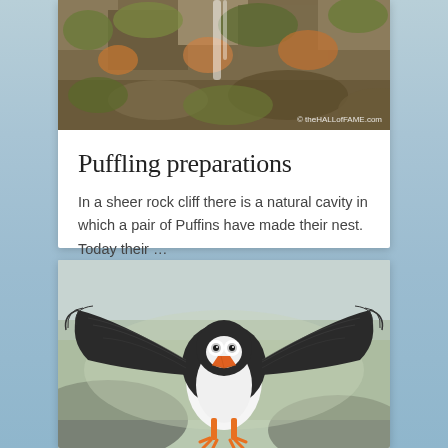[Figure (photo): Rock cliff face with orange and green lichen, with watermark 'theHALLofFAME.com']
Puffling preparations
In a sheer rock cliff there is a natural cavity in which a pair of Puffins have made their nest. Today their …
[Figure (photo): Atlantic Puffin in flight facing camera with wings fully spread, orange feet visible, blurred coastal background]